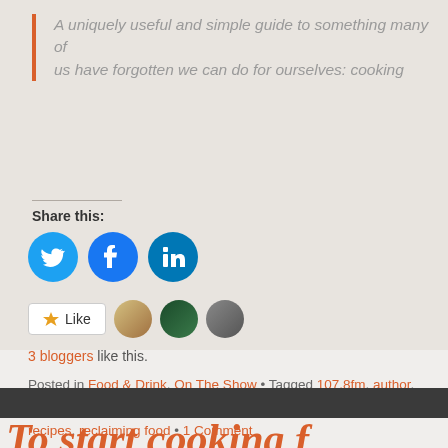A uniquely useful and simple guide to something many of us have forgotten we can do for ourselves: cooking
Share this:
[Figure (other): Three social share buttons: Twitter (blue bird), Facebook (blue f), LinkedIn (blue in)]
[Figure (other): Like button with star icon and three blogger avatars]
3 bloggers like this.
Posted in Food & Drink, On The Show • Tagged 107.8fm, author, cooking, emma kathryn, put on your sunday best, radio newark, recipes, reclaiming food • 1 Comment
[Figure (photo): Dark photo strip at bottom of page]
To start cooking f...